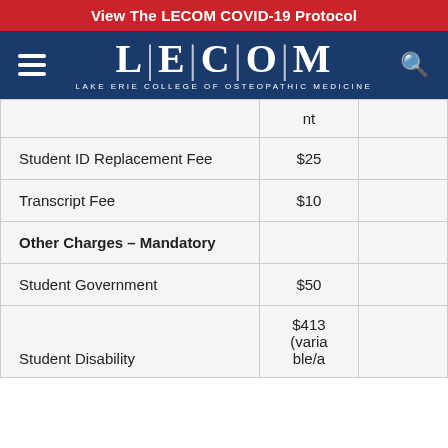View The LECOM COVID-19 Protocol
[Figure (logo): LECOM - Lake Erie College of Osteopathic Medicine logo with hamburger menu and search icon on dark blue navigation bar]
|  | nt |  |
| --- | --- | --- |
| Student ID Replacement Fee | $25 |  |
| Transcript Fee | $10 |  |
| Other Charges – Mandatory |  |  |
| Student Government | $50 |  |
| Student Disability | $413 (varia ble/a |  |